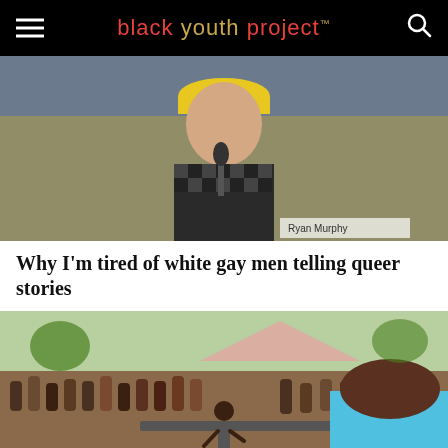black youth project™
[Figure (photo): Man wearing a yellow flat cap and checkered shirt sitting at a panel with a microphone in front of him, Comic-Con style backdrop. Name placard partially visible reading 'Ryan Murphy'.]
Why I'm tired of white gay men telling queer stories
[Figure (photo): Outdoor crowd gathered around a performer dancing on a low stage or platform at a large outdoor event, audience in background.]